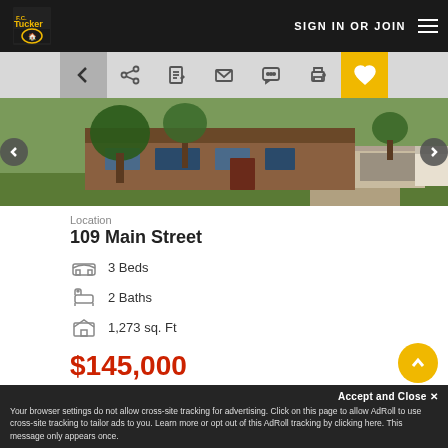F.C. Tucker | SIGN IN OR JOIN
[Figure (screenshot): Navigation toolbar with back arrow, share, save, email, message, print, and favorite (heart) buttons on a gray background]
[Figure (photo): Ranch-style brick house with large trees in the front yard, attached garage on the right side]
Location
109 Main Street
3 Beds
2 Baths
1,273 sq. Ft
$145,000
Accept and Close ✕
Your browser settings do not allow cross-site tracking for advertising. Click on this page to allow AdRoll to use cross-site tracking to tailor ads to you. Learn more or opt out of this AdRoll tracking by clicking here. This message only appears once.